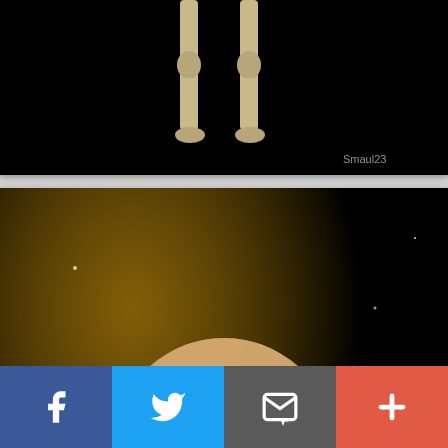[Figure (photo): Skeleton legs on black background with 'Smaul23' watermark in bottom right corner]
[Figure (photo): Flaming skull creature with blue glowing eyes and skeletal hands reaching forward, surrounded by orange flames on black background]
[Figure (photo): Dancing skeleton figure on black background, partially visible]
[Figure (infographic): Social sharing bar with Facebook (blue), Twitter (light blue), Email (gray), and Plus/more (red-orange) buttons]